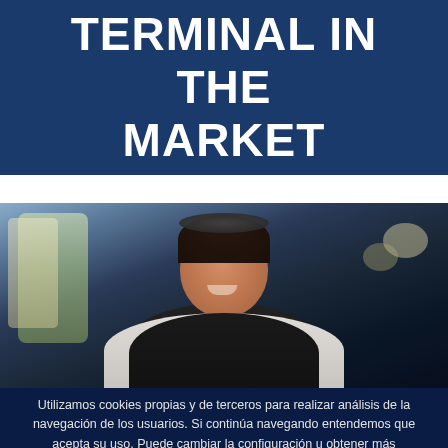TERMINAL IN THE MARKET
[Figure (photo): A smiling woman wearing a black apron over a white top, standing in what appears to be a market or cafe setting with blurred background shelving and lights.]
Utilizamos cookies propias y de terceros para realizar análisis de la navegación de los usuarios. Si continúa navegando entendemos que acepta su uso. Puede cambiar la configuración u obtener más información consultando nuestra política de cookies.
Aceptar
Politica de cookies